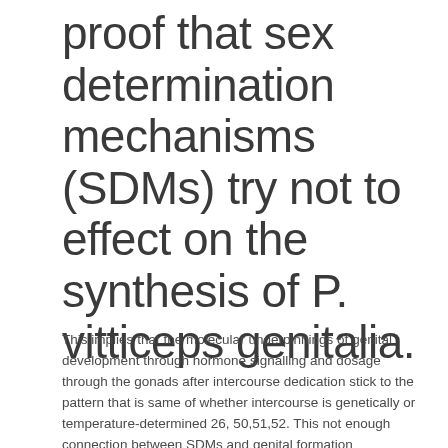proof that sex determination mechanisms (SDMs) try not to effect on the synthesis of P. vitticeps genitalia.
This implies that the molecular underpinnings of genital development through hormone signalling and dosage through the gonads after intercourse dedication stick to the pattern that is same of whether intercourse is genetically or temperature-determined 26, 50,51,52. This not enough connection between SDMs and genital formation additionally shows that the evolution of vaginal